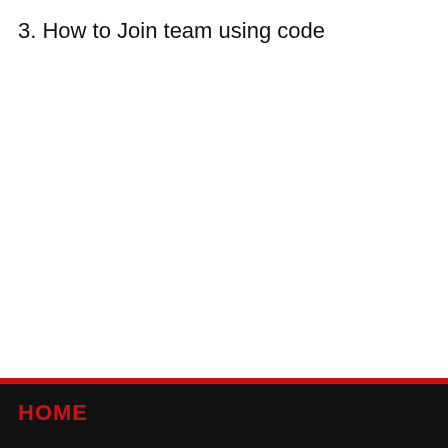3. How to Join team using code
HOME